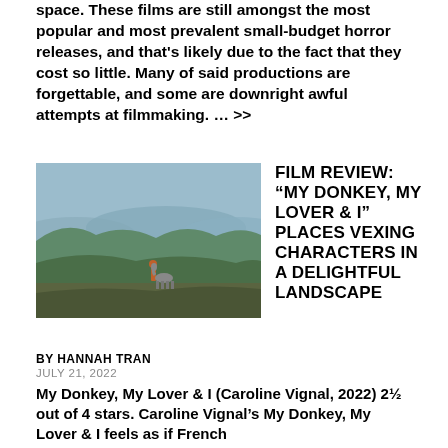space. These films are still amongst the most popular and most prevalent small-budget horror releases, and that's likely due to the fact that they cost so little. Many of said productions are forgettable, and some are downright awful attempts at filmmaking. … >>
[Figure (photo): A person leading a donkey across a vast hilly landscape with rolling mountains and blue sky in the background.]
FILM REVIEW: “MY DONKEY, MY LOVER & I” PLACES VEXING CHARACTERS IN A DELIGHTFUL LANDSCAPE
BY HANNAH TRAN
JULY 21, 2022
My Donkey, My Lover & I (Caroline Vignal, 2022) 2½ out of 4 stars. Caroline Vignal’s My Donkey, My Lover & I feels as if French